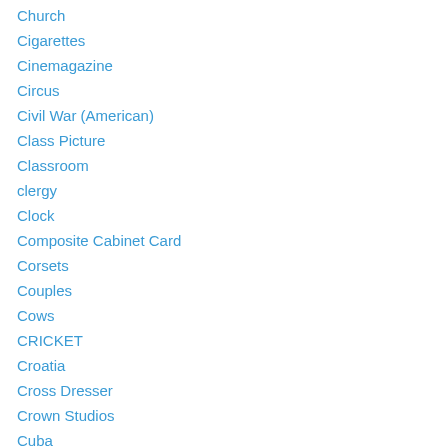Church
Cigarettes
Cinemagazine
Circus
Civil War (American)
Class Picture
Classroom
clergy
Clock
Composite Cabinet Card
Corsets
Couples
Cows
CRICKET
Croatia
Cross Dresser
Crown Studios
Cuba
Curt Teich
Cyko